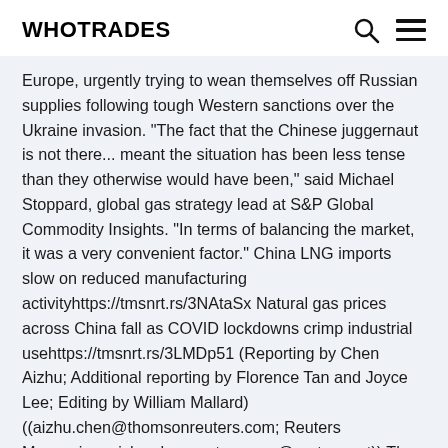WHOTRADES
Europe, urgently trying to wean themselves off Russian supplies following tough Western sanctions over the Ukraine invasion. "The fact that the Chinese juggernaut is not there... meant the situation has been less tense than they otherwise would have been," said Michael Stoppard, global gas strategy lead at S&P Global Commodity Insights. "In terms of balancing the market, it was a very convenient factor." China LNG imports slow on reduced manufacturing activityhttps://tmsnrt.rs/3NAtaSx Natural gas prices across China fall as COVID lockdowns crimp industrial usehttps://tmsnrt.rs/3LMDp51 (Reporting by Chen Aizhu; Additional reporting by Florence Tan and Joyce Lee; Editing by William Mallard) ((aizhu.chen@thomsonreuters.com; Reuters Messaging: aizhu.chen.reuters.com@reuters.net)) The views and opinions expressed herein are the views and